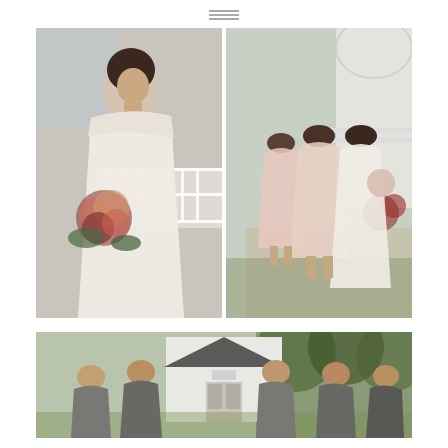[Figure (photo): Hamburger menu icon with three horizontal lines centered at top of page]
[Figure (photo): Bride in white lace gown holding a bouquet of red, peach, and pink flowers with greenery, standing on a porch with white railings]
[Figure (photo): Bridesmaids in blush pink dresses seen from behind, walking with the bride in white, near a white gazebo and garden]
[Figure (photo): Group of groomsmen in grey suits standing and laughing in front of a small white chapel building surrounded by trees]